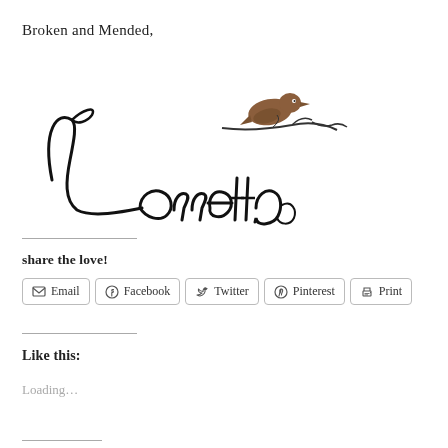Broken and Mended,
[Figure (illustration): Cursive signature 'Lorretta' in decorative script with a small brown bird perched on a branch above the text]
share the love!
Email | Facebook | Twitter | Pinterest | Print
Like this:
Loading...